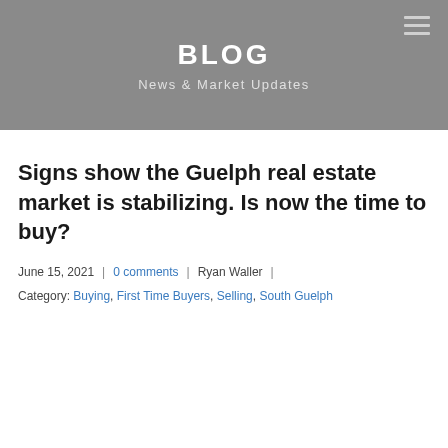BLOG
News & Market Updates
Signs show the Guelph real estate market is stabilizing. Is now the time to buy?
June 15, 2021  |  0 comments  |  Ryan Waller  |
Category: Buying, First Time Buyers, Selling, South Guelph